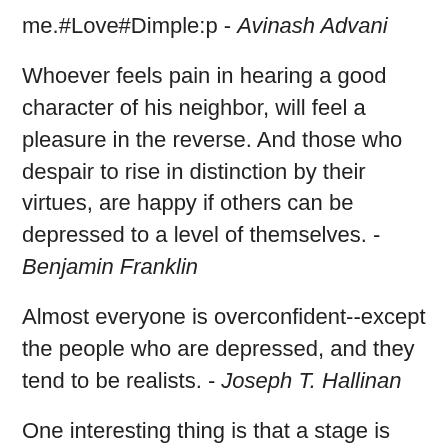me.#Love#Dimple:p - Avinash Advani
Whoever feels pain in hearing a good character of his neighbor, will feel a pleasure in the reverse. And those who despair to rise in distinction by their virtues, are happy if others can be depressed to a level of themselves. - Benjamin Franklin
Almost everyone is overconfident--except the people who are depressed, and they tend to be realists. - Joseph T. Hallinan
One interesting thing is that a stage is reached when nothing hurts any more. Things cannot become any worse, finally, for the one who is really depressed. -